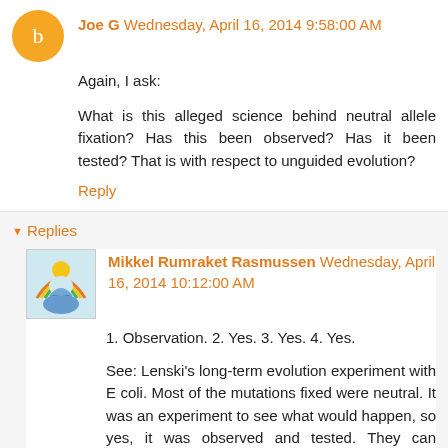Joe G  Wednesday, April 16, 2014 9:58:00 AM
Again, I ask:
What is this alleged science behind neutral allele fixation? Has this been observed? Has it been tested? That is with respect to unguided evolution?
Reply
▼ Replies
Mikkel Rumraket Rasmussen  Wednesday, April 16, 2014 10:12:00 AM
1. Observation. 2. Yes. 3. Yes. 4. Yes.
See: Lenski's long-term evolution experiment with E coli. Most of the mutations fixed were neutral. It was an experiment to see what would happen, so yes, it was observed and tested. They can directly compare independent lineages and ancestral frozen stages from the population